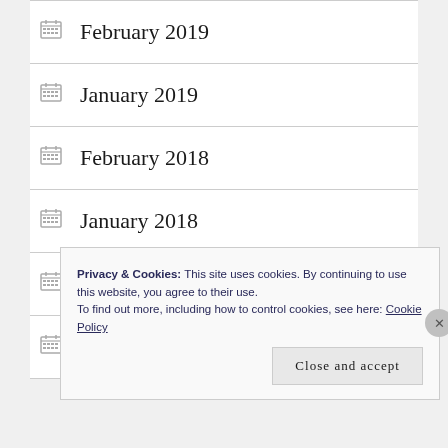February 2019
January 2019
February 2018
January 2018
December 2017
November 2017
Privacy & Cookies: This site uses cookies. By continuing to use this website, you agree to their use. To find out more, including how to control cookies, see here: Cookie Policy
Close and accept